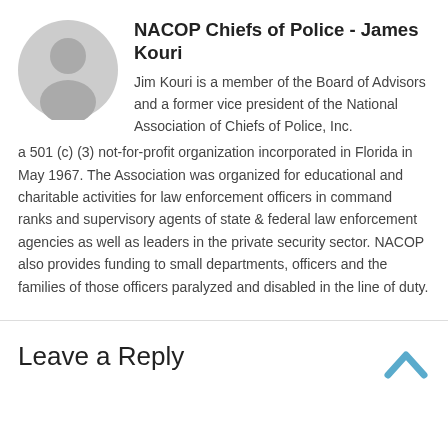NACOP Chiefs of Police - James Kouri
Jim Kouri is a member of the Board of Advisors and a former vice president of the National Association of Chiefs of Police, Inc. a 501 (c) (3) not-for-profit organization incorporated in Florida in May 1967. The Association was organized for educational and charitable activities for law enforcement officers in command ranks and supervisory agents of state & federal law enforcement agencies as well as leaders in the private security sector. NACOP also provides funding to small departments, officers and the families of those officers paralyzed and disabled in the line of duty.
Leave a Reply